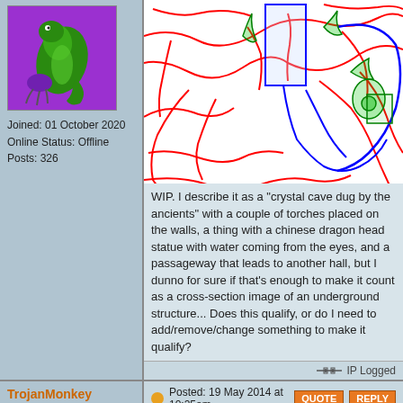[Figure (illustration): Pixel art avatar: green snake/creature on purple background]
Joined: 01 October 2020
Online Status: Offline
Posts: 326
[Figure (map): Hand-drawn map with red, blue, and green lines on white background resembling a game map of an underground structure]
WIP. I describe it as a "crystal cave dug by the ancients" with a couple of torches placed on the walls, a thing with a chinese dragon head statue with water coming from the eyes, and a passageway that leads to another hall, but I dunno for sure if that's enough to make it count as a cross-section image of an underground structure... Does this qualify, or do I need to add/remove/change something to make it qualify?
IP Logged
TrojanMonkey
Midshipman
[Figure (illustration): Pixel art avatar of a character with a green hat and headset]
Joined: 21 May 2014
Posted: 19 May 2014 at 10:25am
Can anyone show an example of a 'cross-section'?